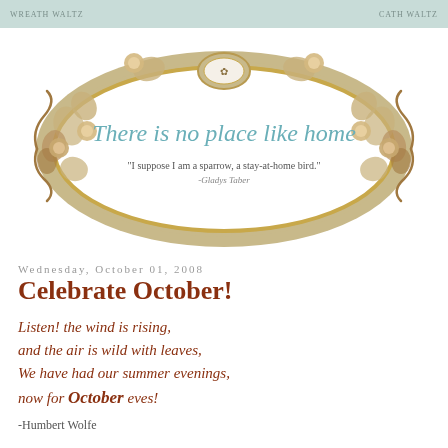WREATH WALTZ   CATH WALTZ
[Figure (illustration): Decorative oval floral frame with gold/beige roses and leaves. Inside the oval on a white background: teal script text reading 'There is no place like home'. Below the script, smaller serif text reads: '"I suppose I am a sparrow, a stay-at-home bird." -Gladys Taber']
Wednesday, October 01, 2008
Celebrate October!
Listen! the wind is rising,
and the air is wild with leaves,
We have had our summer evenings,
now for October eves!
-Humbert Wolfe